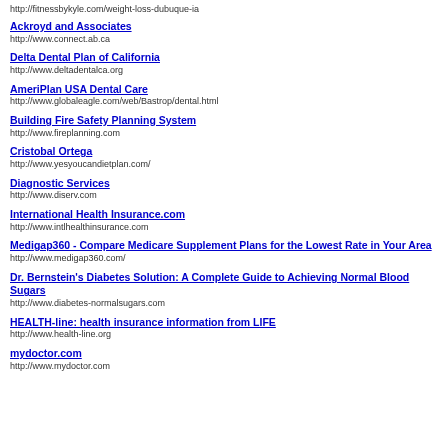http://fitnessbykyle.com/weight-loss-dubuque-ia
Ackroyd and Associates
http://www.connect.ab.ca
Delta Dental Plan of California
http://www.deltadentalca.org
AmeriPlan USA Dental Care
http://www.globaleagle.com/web/Bastrop/dental.html
Building Fire Safety Planning System
http://www.fireplanning.com
Cristobal Ortega
http://www.yesyoucandietplan.com/
Diagnostic Services
http://www.diserv.com
International Health Insurance.com
http://www.intlhealthinsurance.com
Medigap360 - Compare Medicare Supplement Plans for the Lowest Rate in Your Area
http://www.medigap360.com/
Dr. Bernstein's Diabetes Solution: A Complete Guide to Achieving Normal Blood Sugars
http://www.diabetes-normalsugars.com
HEALTH-line: health insurance information from LIFE
http://www.health-line.org
mydoctor.com
http://www.mydoctor.com